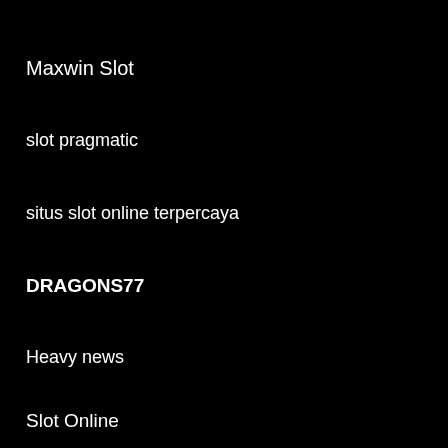Maxwin Slot
slot pragmatic
situs slot online terpercaya
DRAGONS77
Heavy news
Slot Online